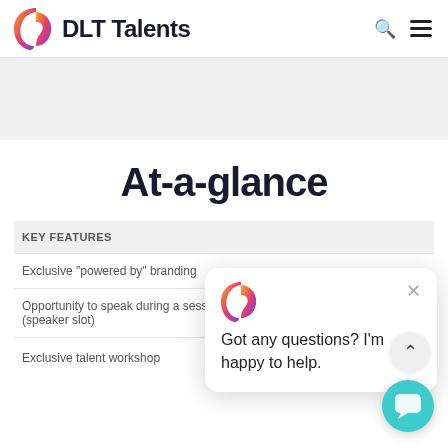DLT Talents
At-a-glance
KEY FEATURES
Exclusive "powered by" branding
Opportunity to speak during a session (speaker slot)
Exclusive talent workshop
Got any questions? I'm happy to help.